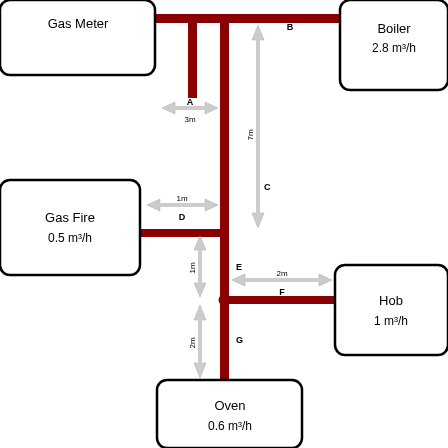[Figure (engineering-diagram): Gas pipe network schematic diagram showing a Gas Meter connected to appliances: Boiler (2.8 m³/h), Gas Fire (0.5 m³/h), Hob (1 m³/h), and Oven (0.6 m³/h) via labeled pipe segments A through G with distance measurements in metres.]